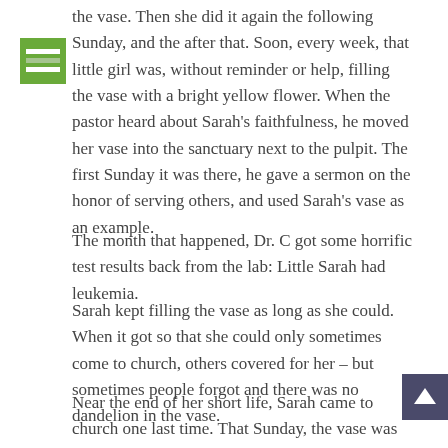[Figure (illustration): Green icon with horizontal lines resembling a menu or list symbol, positioned at top-left near the text]
the vase. Then she did it again the following Sunday, and the after that. Soon, every week, that little girl was, without reminder or help, filling the vase with a bright yellow flower. When the pastor heard about Sarah's faithfulness, he moved her vase into the sanctuary next to the pulpit. The first Sunday it was there, he gave a sermon on the honor of serving others, and used Sarah's vase as an example.
The month that happened, Dr. C got some horrific test results back from the lab: Little Sarah had leukemia.
Sarah kept filling the vase as long as she could. When it got so that she could only sometimes come to church, others covered for her – but sometimes people forgot and there was no dandelion in the vase.
Near the end of her short life, Sarah came to church one last time. That Sunday, the vase was again missing a dandelion. Sarah's parents brought forward their little girl, bundled in a blanket, with a dandelion in her hand. She put in the flower and